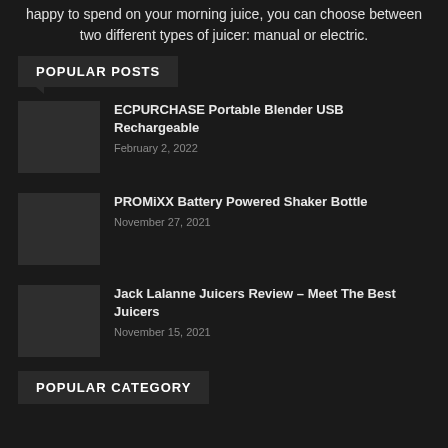happy to spend on your morning juice, you can choose between two different types of juicer: manual or electric.
POPULAR POSTS
[Figure (photo): Thumbnail image for ECPURCHASE Portable Blender USB Rechargeable post]
ECPURCHASE Portable Blender USB Rechargeable
February 2, 2022
[Figure (photo): Thumbnail image for PROMiXX Battery Powered Shaker Bottle post]
PROMiXX Battery Powered Shaker Bottle
November 27, 2021
[Figure (photo): Thumbnail image for Jack Lalanne Juicers Review post]
Jack Lalanne Juicers Review – Meet The Best Juicers
November 15, 2021
POPULAR CATEGORY